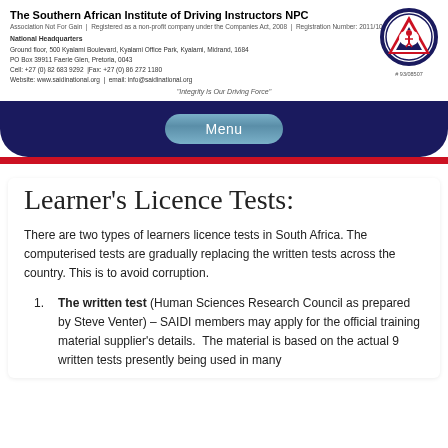The Southern African Institute of Driving Instructors NPC
Association Not For Gain | Registered as a non-profit company under the Companies Act, 2008 | Registration Number: 2011/109736/80
National Headquarters
Ground floor, 500 Kyalami Boulevard, Kyalami Office Park, Kyalami, Midrand, 1684
PO Box 39911 Faerie Glen, Pretoria, 0043
Cell: +27 (0) 82 683 9292 | Fax: +27 (0) 86 272 1180
Website: www.saidinational.org | email: info@saidinational.org
"Integrity Is Our Driving Force"
[Figure (logo): SAIDI circular logo with dark blue border, triangle with figure, red and white design. Registration number: # 93/08507]
Menu
Learner's Licence Tests:
There are two types of learners licence tests in South Africa. The computerised tests are gradually replacing the written tests across the country. This is to avoid corruption.
The written test (Human Sciences Research Council as prepared by Steve Venter) – SAIDI members may apply for the official training material supplier's details. The material is based on the actual 9 written tests presently being used in many